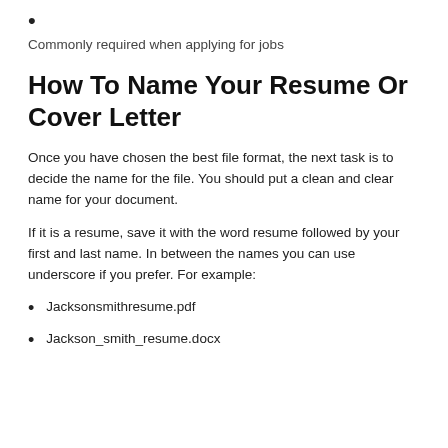•
Commonly required when applying for jobs
How To Name Your Resume Or Cover Letter
Once you have chosen the best file format, the next task is to decide the name for the file. You should put a clean and clear name for your document.
If it is a resume, save it with the word resume followed by your first and last name. In between the names you can use underscore if you prefer. For example:
Jacksonsmithresume.pdf
Jackson_smith_resume.docx